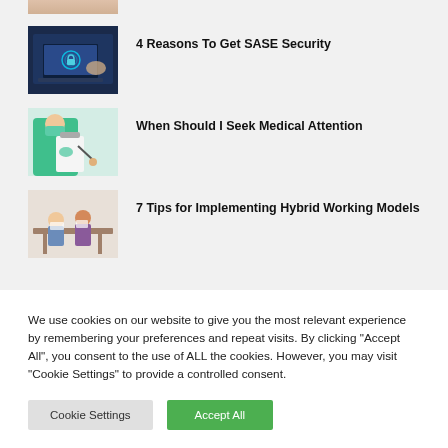[Figure (photo): Partial thumbnail image of a person at top of page (cropped)]
[Figure (photo): Thumbnail of person using a laptop with digital security overlay graphics]
4 Reasons To Get SASE Security
[Figure (photo): Thumbnail of a medical professional in teal scrubs writing on a clipboard, wearing gloves]
When Should I Seek Medical Attention
[Figure (photo): Thumbnail of people working together at a table in an office or collaborative workspace]
7 Tips for Implementing Hybrid Working Models
We use cookies on our website to give you the most relevant experience by remembering your preferences and repeat visits. By clicking "Accept All", you consent to the use of ALL the cookies. However, you may visit "Cookie Settings" to provide a controlled consent.
Cookie Settings
Accept All